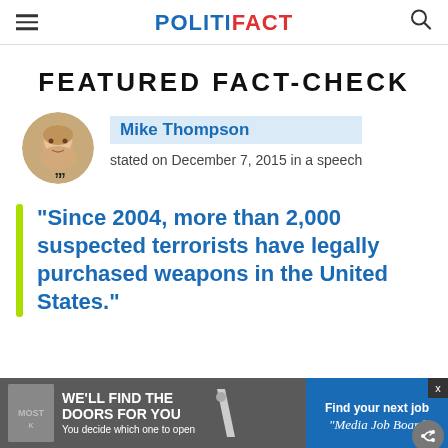POLITIFACT
FEATURED FACT-CHECK
Mike Thompson stated on December 7, 2015 in a speech
"Since 2004, more than 2,000 suspected terrorists have legally purchased weapons in the United States."